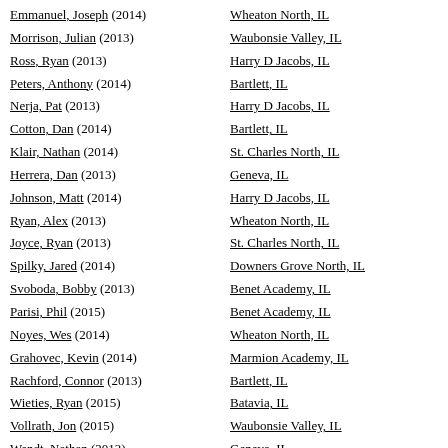Emmanuel, Joseph (2014) | Wheaton North, IL
Morrison, Julian (2013) | Waubonsie Valley, IL
Ross, Ryan (2013) | Harry D Jacobs, IL
Peters, Anthony (2014) | Bartlett, IL
Nerja, Pat (2013) | Harry D Jacobs, IL
Cotton, Dan (2014) | Bartlett, IL
Klair, Nathan (2014) | St. Charles North, IL
Herrera, Dan (2013) | Geneva, IL
Johnson, Matt (2014) | Harry D Jacobs, IL
Ryan, Alex (2013) | Wheaton North, IL
Joyce, Ryan (2013) | St. Charles North, IL
Spilky, Jared (2014) | Downers Grove North, IL
Svoboda, Bobby (2013) | Benet Academy, IL
Parisi, Phil (2015) | Benet Academy, IL
Noyes, Wes (2014) | Wheaton North, IL
Grahovec, Kevin (2014) | Marmion Academy, IL
Rachford, Connor (2013) | Bartlett, IL
Wieties, Ryan (2015) | Batavia, IL
Vollrath, Jon (2015) | Waubonsie Valley, IL
Wendt, Nathan (2013) | Geneva, IL
Craven, Jeremy (2014) | Downers Grove North, IL